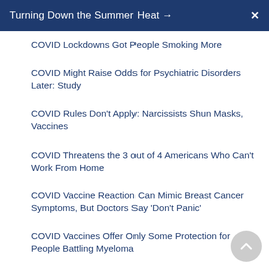Turning Down the Summer Heat → X
COVID Lockdowns Got People Smoking More
COVID Might Raise Odds for Psychiatric Disorders Later: Study
COVID Rules Don't Apply: Narcissists Shun Masks, Vaccines
COVID Threatens the 3 out of 4 Americans Who Can't Work From Home
COVID Vaccine Reaction Can Mimic Breast Cancer Symptoms, But Doctors Say 'Don't Panic'
COVID Vaccines Offer Only Some Protection for People Battling Myeloma
COVID Variant Tied to Heart Inflammation in Cats, Dogs
COVID-19 Exacts Emotional Toll on Doctors
COVID-19 Pandemic May Lead to 75,000 'Deaths of